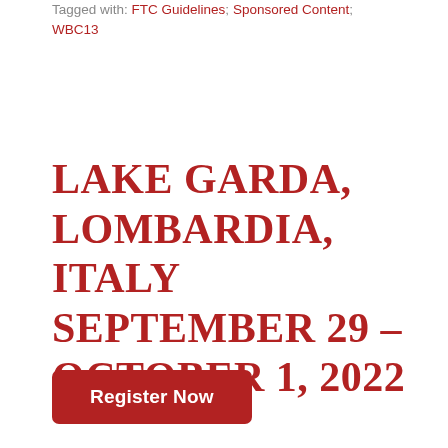Tagged with: FTC Guidelines; Sponsored Content; WBC13
LAKE GARDA, LOMBARDIA, ITALY SEPTEMBER 29 – OCTOBER 1, 2022
Register Now
[Figure (infographic): Row of four red rounded-square social media icons: Facebook (f), Instagram (camera), Twitter (bird), YouTube (play button)]